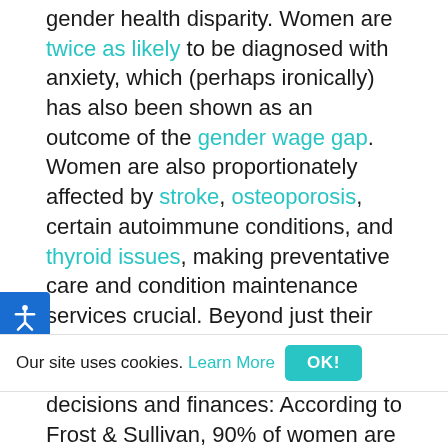gender health disparity. Women are twice as likely to be diagnosed with anxiety, which (perhaps ironically) has also been shown as an outcome of the gender wage gap. Women are also proportionately affected by stroke, osteoporosis, certain autoimmune conditions, and thyroid issues, making preventative care and condition maintenance services crucial. Beyond just their own health, women also take the lead managing family healthcare decisions and finances: According to Frost & Sullivan, 90% of women are the primary healthcare decision makers for their households and are also responsible for 80% of family healthcare spending.
These differences make it clear that healthcare b... one-size-fits-a... in order to attract and retain women throughout all levels of leadership, companies must